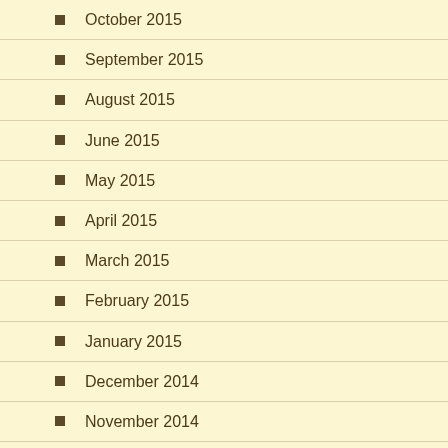October 2015
September 2015
August 2015
June 2015
May 2015
April 2015
March 2015
February 2015
January 2015
December 2014
November 2014
October 2014
September 2014
August 2014
July 2014